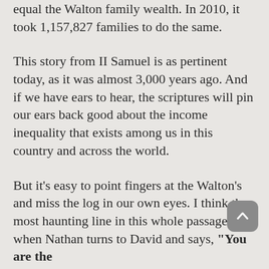equal the Walton family wealth. In 2010, it took 1,157,827 families to do the same.
This story from II Samuel is as pertinent today, as it was almost 3,000 years ago. And if we have ears to hear, the scriptures will pin our ears back good about the income inequality that exists among us in this country and across the world.
But it's easy to point fingers at the Walton's and miss the log in our own eyes. I think the most haunting line in this whole passage is when Nathan turns to David and says, “You are the